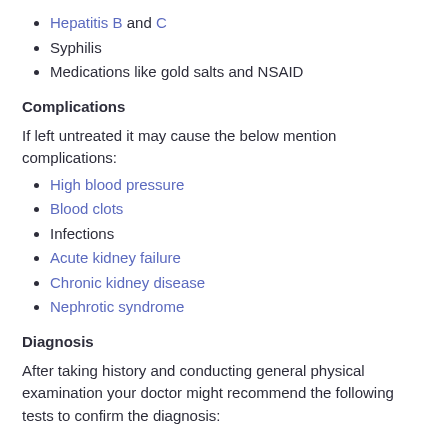Hepatitis B and C
Syphilis
Medications like gold salts and NSAID
Complications
If left untreated it may cause the below mention complications:
High blood pressure
Blood clots
Infections
Acute kidney failure
Chronic kidney disease
Nephrotic syndrome
Diagnosis
After taking history and conducting general physical examination your doctor might recommend the following tests to confirm the diagnosis: